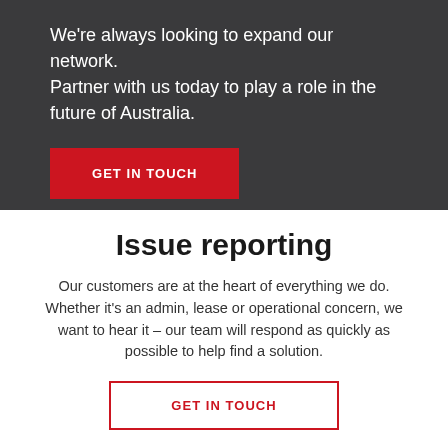We're always looking to expand our network. Partner with us today to play a role in the future of Australia.
GET IN TOUCH
Issue reporting
Our customers are at the heart of everything we do. Whether it's an admin, lease or operational concern, we want to hear it – our team will respond as quickly as possible to help find a solution.
GET IN TOUCH